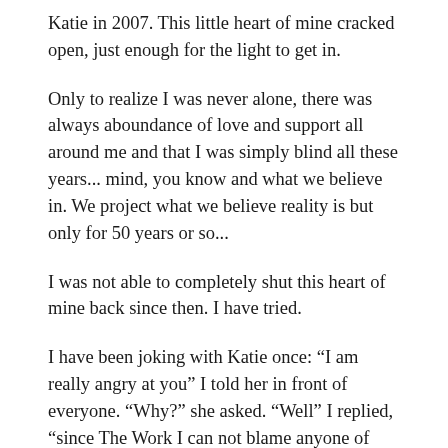Katie in 2007. This little heart of mine cracked open, just enough for the light to get in.
Only to realize I was never alone, there was always aboundance of love and support all around me and that I was simply blind all these years... mind, you know and what we believe in. We project what we believe reality is but only for 50 years or so...
I was not able to completely shut this heart of mine back since then. I have tried.
I have been joking with Katie once: “I am really angry at you” I told her in front of everyone. “Why?” she asked. “Well” I replied, “since The Work I can not blame anyone of anything anymore, not anyone in my